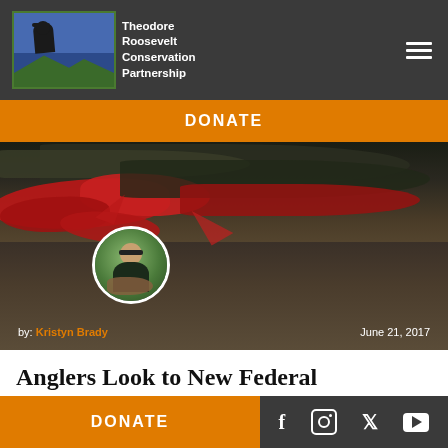[Figure (logo): Theodore Roosevelt Conservation Partnership logo with a figure on horseback and mountain/tree background]
DONATE
[Figure (photo): Hero image showing large fish (salmon) laid out on a dark surface, with a circular author avatar of Kristyn Brady in the lower left. Text overlay shows 'by: Kristyn Brady' and 'June 21, 2017']
Anglers Look to New Federal Fisheries Head to Improve
DONATE
Social media icons: Facebook, Instagram, Twitter, YouTube